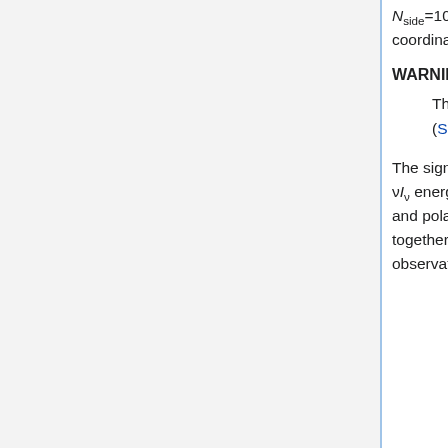Nside=1024 (for LFI 30, 44, and 70GHz) and 2048 (for LFI 70GHz and HFI), in Galactic coordinates, and with nested ordering.
WARNING
The HEALPix convention for polarization is not the same as the IAU convention (Section 8 on this page).
The signal is given in units of KCMB for 30 to 353 GHz, and of MJy.sr-1 (for a constant νIν energy distribution) for 545 and 857 GHz. For each frequency channel, the intensity and polarization maps are packaged into a "BINTABLE" extension of a FITS file together with a hit-counts map (or "hits map", for short, giving the number of observation samples that are accumulated in a pixel,